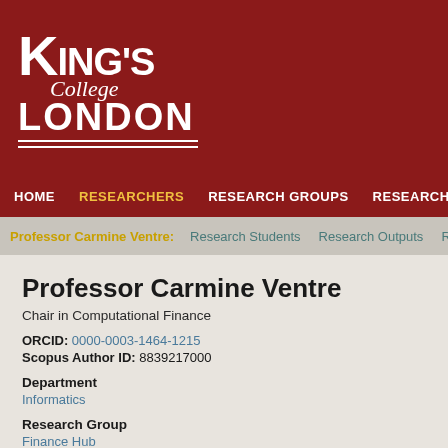[Figure (logo): King's College London logo — white text on dark red background. Large K with 'ING'S' text, 'College' in italic script, 'LONDON' in bold capitals, with double underline.]
HOME | RESEARCHERS | RESEARCH GROUPS | RESEARCH OUTPUTS
Professor Carmine Ventre: | Research Students | Research Outputs
Professor Carmine Ventre
Chair in Computational Finance
ORCID: 0000-0003-1464-1215
Scopus Author ID: 8839217000
Department
Informatics
Research Group
Finance Hub
Distributed Artificial Intelligence
Latest Research Outputs